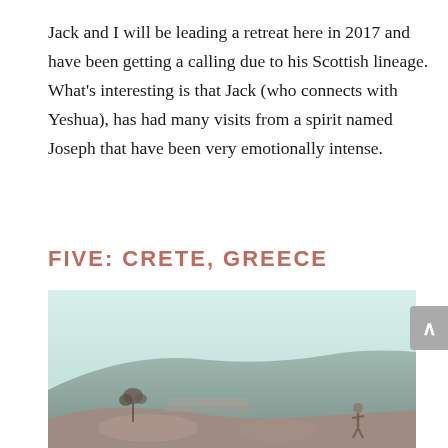Jack and I will be leading a retreat here in 2017 and have been getting a calling due to his Scottish lineage. What's interesting is that Jack (who connects with Yeshua), has had many visits from a spirit named Joseph that have been very emotionally intense.
FIVE: CRETE, GREECE
[Figure (photo): Outdoor photo showing ruins or a rocky hillside landscape in Crete, Greece. The image has a faded, slightly tinted look with pale blue sky and muted earth tones. A plant or small shrub is visible in the foreground along with what appears to be ancient stonework or terrain.]